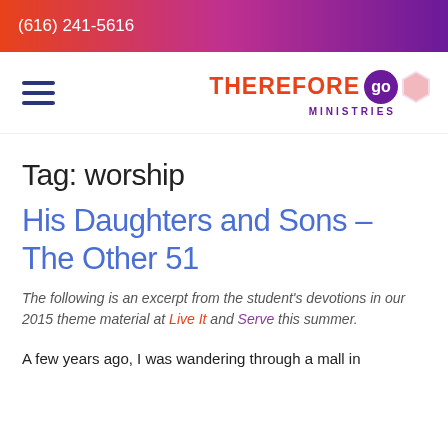(616) 241-5616
[Figure (logo): Therefore Go Ministries logo with hamburger menu icon]
Tag: worship
His Daughters and Sons – The Other 51
The following is an excerpt from the student's devotions in our 2015 theme material at Live It and Serve this summer.
A few years ago, I was wandering through a mall in